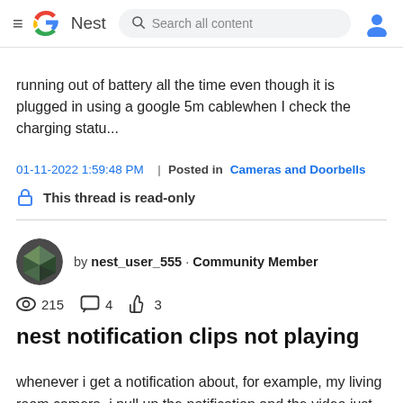≡  G  Nest  Search all content
running out of battery all the time even though it is plugged in using a google 5m cablewhen I check the charging statu...
01-11-2022 1:59:48 PM  |  Posted in Cameras and Doorbells
🔒 This thread is read-only
by nest_user_555 · Community Member
👁 215  💬 4  👍 3
nest notification clips not playing
whenever i get a notification about, for example, my living room camera, i pull up the notification and the video just never loads. the spinner just spins and spins and spins. i can pull up the live feed